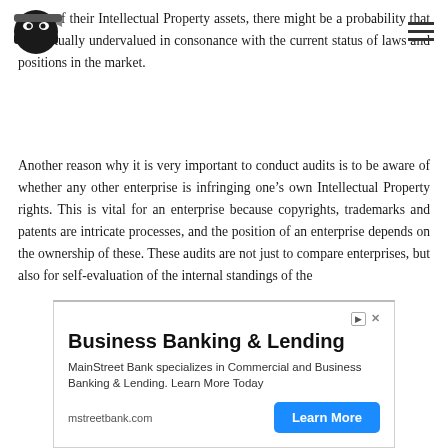[Logo: ninja icon] [Hamburger menu]
aware of their Intellectual Property assets, there might be a probability that it is actually undervalued in consonance with the current status of laws and positions in the market.
Another reason why it is very important to conduct audits is to be aware of whether any other enterprise is infringing one’s own Intellectual Property rights. This is vital for an enterprise because copyrights, trademarks and patents are intricate processes, and the position of an enterprise depends on the ownership of these. These audits are not just to compare enterprises, but also for self-evaluation of the internal standings of the enterprise...
[Figure (infographic): Advertisement banner for Business Banking & Lending by MainStreet Bank. Title: Business Banking & Lending. Body: MainStreet Bank specializes in Commercial and Business Banking & Lending. Learn More Today. URL: mstreetbank.com. Button: Learn More]